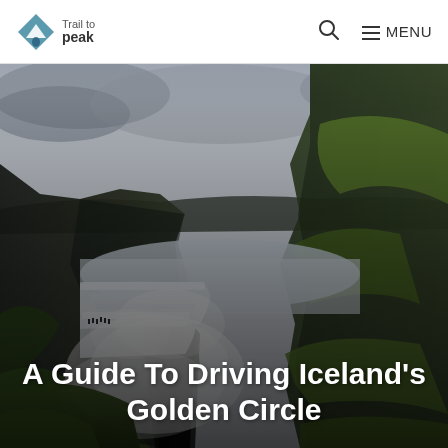Trail to peak | Search | MENU
[Figure (photo): Wide-angle photograph of Gullfoss waterfall in Iceland, showing cascading white water falling into a canyon gorge, with green moss-covered cliffs on both sides and a grey overcast sky above.]
A Guide To Driving Iceland’s Golden Circle